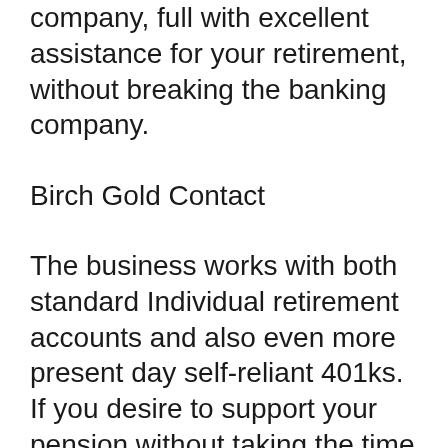company, full with excellent assistance for your retirement, without breaking the banking company.
Birch Gold Contact
The business works with both standard Individual retirement accounts and also even more present day self-reliant 401ks. If you desire to support your pension without taking the time to open up one, you may roll over your possessions directly right into your Goldco Putting In Individual Retirement Account. You may also make use of the business’s electronic purchase companies, featuring its automatic roll-over to your existing IRA account when you make a deposit or withdrawal. You are actually